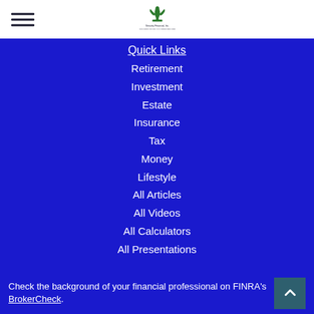[Figure (logo): Security Financial Inc. logo with green fleur-de-lis symbol and company name text below]
Quick Links
Retirement
Investment
Estate
Insurance
Tax
Money
Lifestyle
All Articles
All Videos
All Calculators
All Presentations
Check the background of your financial professional on FINRA's BrokerCheck.